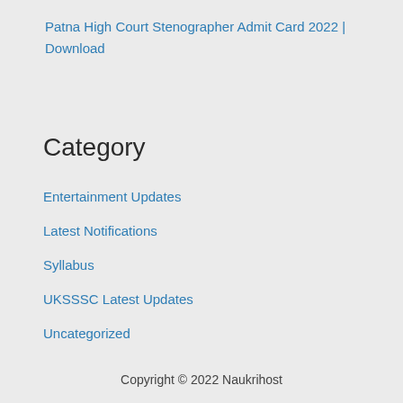Patna High Court Stenographer Admit Card 2022 | Download
Category
Entertainment Updates
Latest Notifications
Syllabus
UKSSSC Latest Updates
Uncategorized
Copyright © 2022 Naukrihost